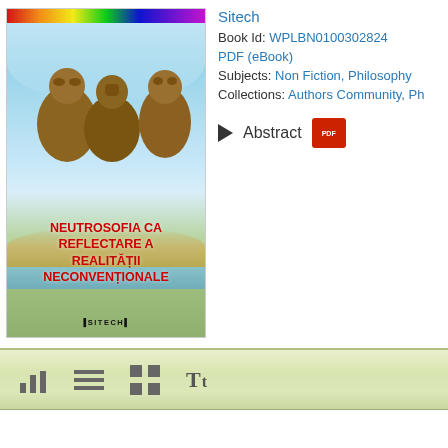[Figure (illustration): Book cover showing two sculptures of human figures (three wise monkeys style) sitting on a beach, with a blue sky background, rainbow stripe at top, red bold Romanian title text 'NEUTROSOFIA CA REFLECTARE A REALITĂȚII NECONVENȚIONALE', and SITECH publisher logo at bottom]
Sitech
Book Id: WPLBN0100302824
PDF (eBook)
Subjects: Non Fiction, Philosophy
Collections: Authors Community, Ph
Abstract
[Figure (screenshot): Toolbar with view-mode icons: bar chart icon, list icon, grid icon, and Tt text icon on a light olive/green gradient background]
About Us   Privacy P